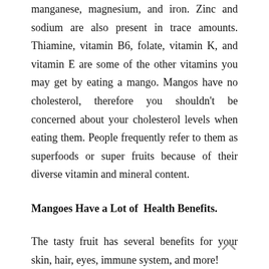manganese, magnesium, and iron. Zinc and sodium are also present in trace amounts. Thiamine, vitamin B6, folate, vitamin K, and vitamin E are some of the other vitamins you may get by eating a mango. Mangos have no cholesterol, therefore you shouldn't be concerned about your cholesterol levels when eating them. People frequently refer to them as superfoods or super fruits because of their diverse vitamin and mineral content.
Mangoes Have a Lot of  Health Benefits.
The tasty fruit has several benefits for your skin, hair, eyes, immune system, and more!